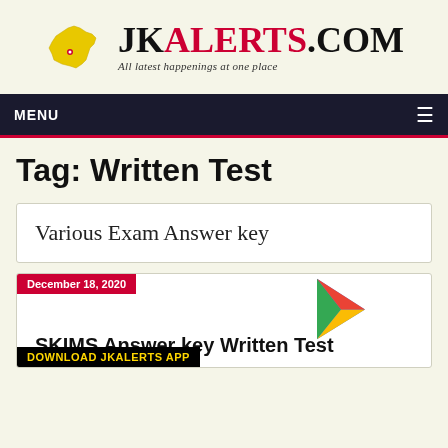[Figure (logo): JKAlerts.com logo with yellow Kashmir map silhouette and tagline 'All latest happenings at one place']
MENU ≡
Tag: Written Test
Various Exam Answer key
December 18, 2020
SKIMS Answer key Written Test